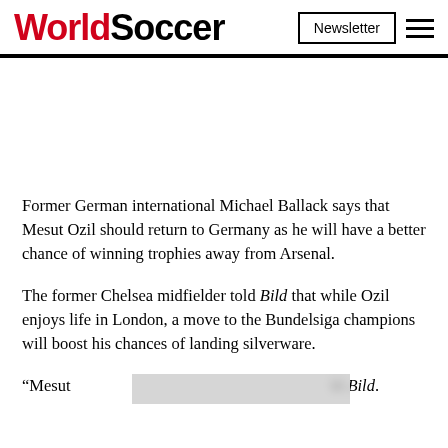WorldSoccer | Newsletter
Former German international Michael Ballack says that Mesut Ozil should return to Germany as he will have a better chance of winning trophies away from Arsenal.
The former Chelsea midfielder told Bild that while Ozil enjoys life in London, a move to the Bundelsiga champions will boost his chances of landing silverware.
“Mesut [obscured] ld Bild.